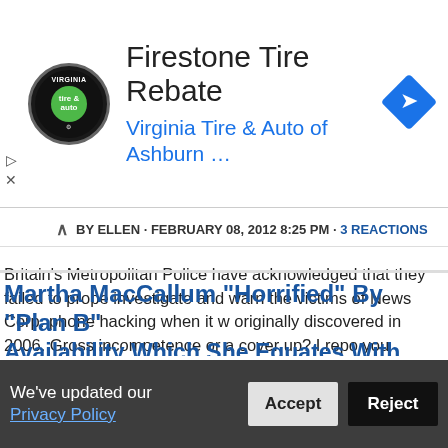[Figure (screenshot): Advertisement banner for Firestone Tire Rebate at Virginia Tire & Auto of Ashburn, with a circular tire-and-auto logo and a blue diamond navigation arrow icon.]
BY ELLEN · FEBRUARY 08, 2012 8:25 PM · 3 REACTIONS
Britain's Metropolitan Police have acknowledged that they failed to properly investigate and warn the victims of News Corp. phone hacking when it was originally discovered in 2006. Gross incompetence or a cover up? I report, you decide.
Read more
3 reactions   Share
Martha MacCallum "Horrified" By "Plan B" Availability Which She Equates With
We've updated our Privacy Policy   Accept   Reject